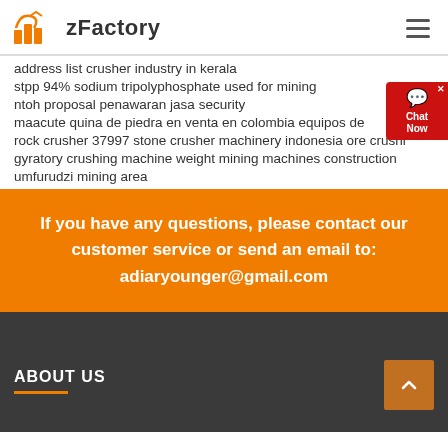zFactory
address list crusher industry in kerala
stpp 94% sodium tripolyphosphate used for mining
ntoh proposal penawaran jasa security
maacute quina de piedra en venta en colombia equipos de
rock crusher 37997 stone crusher machinery indonesia ore crushi
gyratory crushing machine weight mining machines construction
umfurudzi mining area
If you have any questions, please contact our customer service or send an email to: adiaryounger@gmail.com
ABOUT US